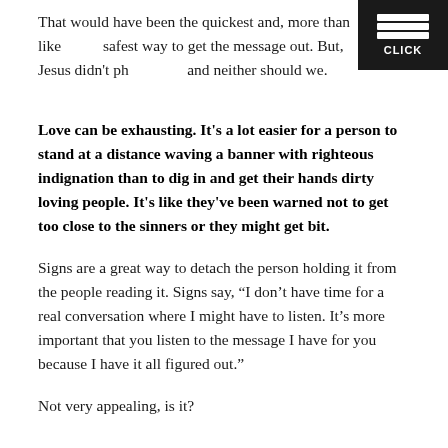That would have been the quickest and, more than likely, the safest way to get the message out. But, Jesus didn't phone it in, and neither should we.
Love can be exhausting. It's a lot easier for a person to stand at a distance waving a banner with righteous indignation than to dig in and get their hands dirty loving people. It's like they've been warned not to get too close to the sinners or they might get bit.
Signs are a great way to detach the person holding it from the people reading it. Signs say, “I don’t have time for a real conversation where I might have to listen. It’s more important that you listen to the message I have for you because I have it all figured out.”
Not very appealing, is it?